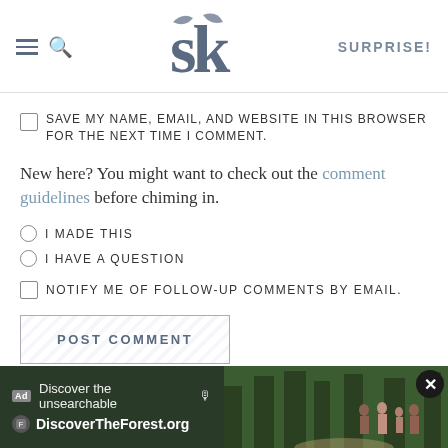SK SURPRISE!
SAVE MY NAME, EMAIL, AND WEBSITE IN THIS BROWSER FOR THE NEXT TIME I COMMENT.
New here? You might want to check out the comment guidelines before chiming in.
I MADE THIS
I HAVE A QUESTION
NOTIFY ME OF FOLLOW-UP COMMENTS BY EMAIL.
POST COMMENT
[Figure (screenshot): Ad banner for DiscoverTheForest.org with text 'Discover the unsearchable' and people in forest background, with close button]